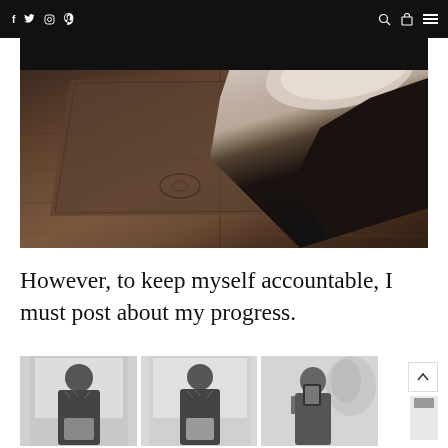f  twitter  instagram  pinterest  [search] [bag] [menu]
[Figure (photo): Overhead view of athletic shoe on wooden floor background with geometric composition, black and white tones]
However, to keep myself accountable, I must post about my progress.
[Figure (photo): Three side-by-side black and white progress photos of a woman in a sports bra showing fitness journey]